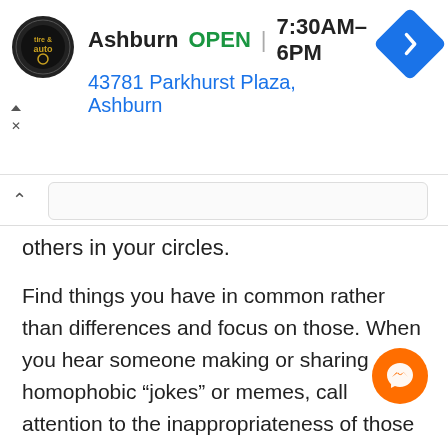[Figure (screenshot): Ad banner for Ashburn tire and auto shop showing logo, OPEN status, hours 7:30AM-6PM, address 43781 Parkhurst Plaza Ashburn, and navigation icon]
others in your circles.
Find things you have in common rather than differences and focus on those. When you hear someone making or sharing homophobic “jokes” or memes, call attention to the inappropriateness of those actions and stop them.
Show respect for others and understand not